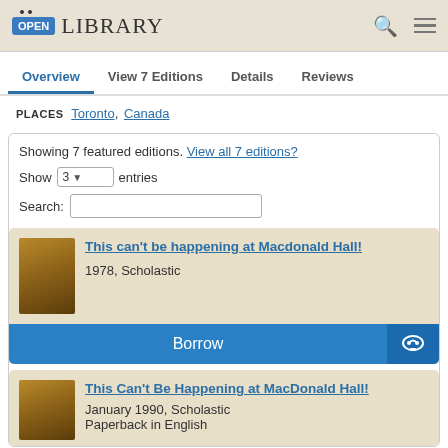OPEN LIBRARY
Overview  View 7 Editions  Details  Reviews
PLACES Toronto, Canada
Showing 7 featured editions. View all 7 editions?
Show 3 entries
Search:
This can't be happening at Macdonald Hall!
1978, Scholastic
Borrow
This Can't Be Happening at MacDonald Hall!
January 1990, Scholastic
Paperback in English